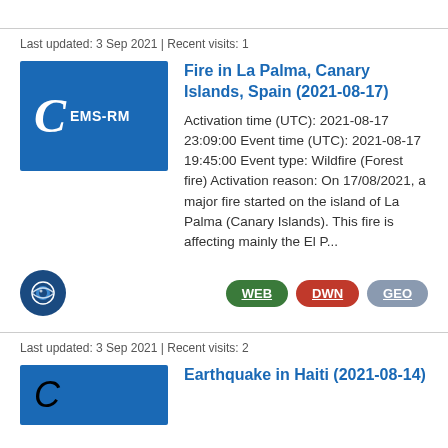Last updated: 3 Sep 2021 | Recent visits: 1
[Figure (logo): Blue square logo with italic C and EMS-RM text]
Fire in La Palma, Canary Islands, Spain (2021-08-17)
Activation time (UTC): 2021-08-17 23:09:00 Event time (UTC): 2021-08-17 19:45:00 Event type: Wildfire (Forest fire) Activation reason: On 17/08/2021, a major fire started on the island of La Palma (Canary Islands). This fire is affecting mainly the El P...
[Figure (logo): Eye icon circle and WEB, DWN, GEO buttons]
Last updated: 3 Sep 2021 | Recent visits: 2
Earthquake in Haiti (2021-08-14)